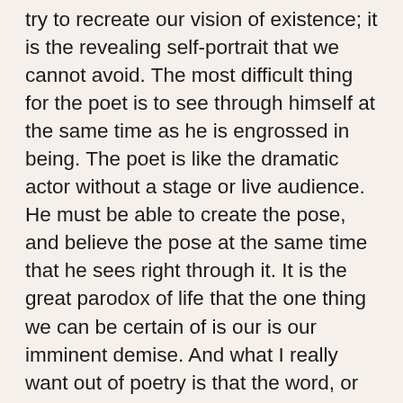try to recreate our vision of existence; it is the revealing self-portrait that we cannot avoid. The most difficult thing for the poet is to see through himself at the same time as he is engrossed in being. The poet is like the dramatic actor without a stage or live audience. He must be able to create the pose, and believe the pose at the same time that he sees right through it. It is the great parodox of life that the one thing we can be certain of is our is our imminent demise. And what I really want out of poetry is that the word, or the turn of a phrase back on itself, or the parody of a common cliché, or the pierce of a powerful image evoke something memorable, or something real, or something evanescent, or even something distinctly transitory—but